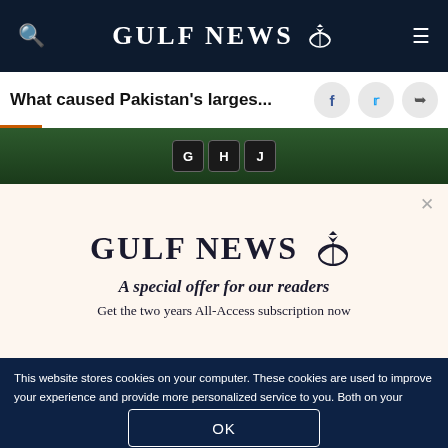GULF NEWS
What caused Pakistan's larges...
[Figure (photo): Dark green background with keyboard keys showing G, H, J]
GULF NEWS
A special offer for our readers
Get the two years All-Access subscription now
This website stores cookies on your computer. These cookies are used to improve your experience and provide more personalized service to you. Both on your website and other media. To find out more about the cookies and data we use, please check out our Privacy Policy.
OK